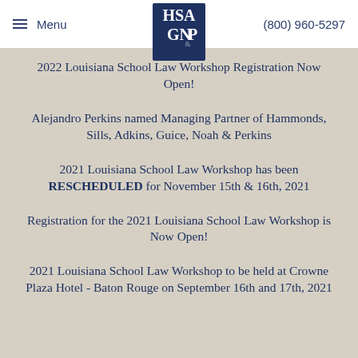Menu  (800) 960-5297
[Figure (logo): HSA GN&P law firm logo — dark blue square with white letters HSA over GN&P]
2022 Louisiana School Law Workshop Registration Now Open!
Alejandro Perkins named Managing Partner of Hammonds, Sills, Adkins, Guice, Noah & Perkins
2021 Louisiana School Law Workshop has been RESCHEDULED for November 15th & 16th, 2021
Registration for the 2021 Louisiana School Law Workshop is Now Open!
2021 Louisiana School Law Workshop to be held at Crowne Plaza Hotel - Baton Rouge on September 16th and 17th, 2021